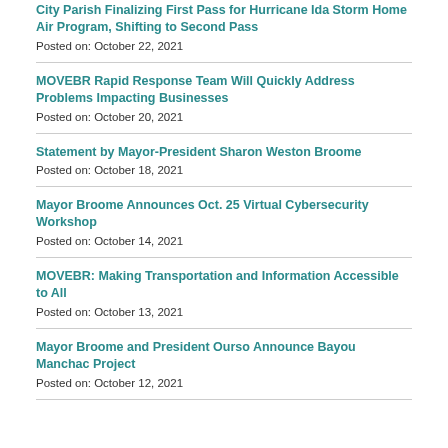City Parish Finalizing First Pass for Hurricane Ida Storm Home Air Program, Shifting to Second Pass
Posted on: October 22, 2021
MOVEBR Rapid Response Team Will Quickly Address Problems Impacting Businesses
Posted on: October 20, 2021
Statement by Mayor-President Sharon Weston Broome
Posted on: October 18, 2021
Mayor Broome Announces Oct. 25 Virtual Cybersecurity Workshop
Posted on: October 14, 2021
MOVEBR: Making Transportation and Information Accessible to All
Posted on: October 13, 2021
Mayor Broome and President Ourso Announce Bayou Manchac Project
Posted on: October 12, 2021